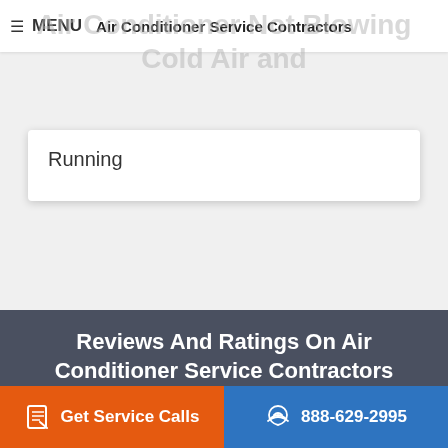≡ MENU  Air Conditioner Service Contractors
Air Conditioner Not Blowing Cold Air and Running
Running
Reviews And Ratings On Air Conditioner Service Contractors
Connect With Licensed Air Conditioning Technician In Your Area
Get Service Calls
888-629-2995